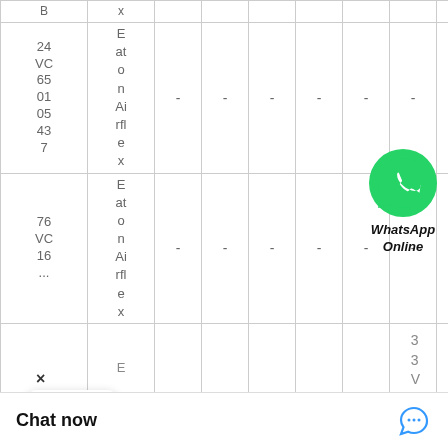| Part No. | Name | - | - | - | - | - | - | - | - |
| --- | --- | --- | --- | --- | --- | --- | --- | --- | --- |
| 24 VC 65 01 05 43 7 | Eaton Airflex | - | - | - | - | - | - | - | - |
| 76 VC 16 ... | Eaton Airflex | - | - | - | - | - | - | - | - |
[Figure (logo): WhatsApp green phone icon with 'WhatsApp Online' label]
Chat now